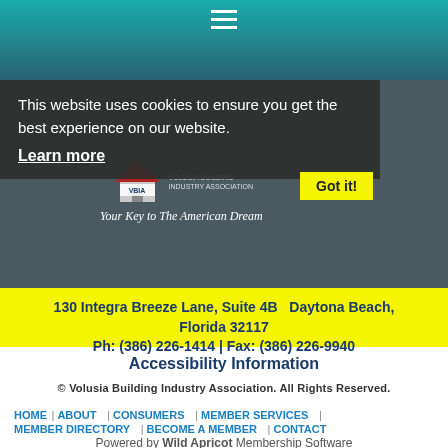[Figure (screenshot): VBIA website screenshot with teal navigation bar, cookie consent banner overlay, and footer content]
This website uses cookies to ensure you get the best experience on our website.
Learn more
Got it!
130 Integra Breeze Lane, Suite 4B  Daytona Beach, Florida 32117
Ph: (386) 226-1414 | Fax: (386) 226-9940
Accessibility Information
© Volusia Building Industry Association. All Rights Reserved.
HOME | ABOUT | CONSUMERS | MEMBER SERVICES | MEMBER DIRECTORY | BECOME A MEMBER | CONTACT
Powered by Wild Apricot Membership Software